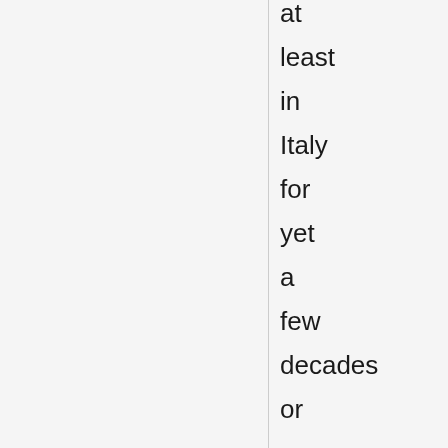at least in Italy for yet a few decades or more. Today, some date the beginning